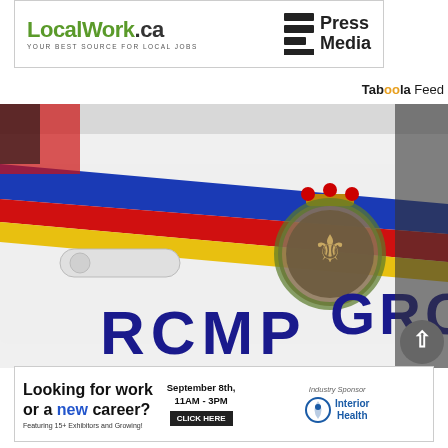[Figure (logo): LocalWork.ca and Press Media advertisement banner at top. LocalWork.ca in green with tagline 'YOUR BEST SOURCE FOR LOCAL JOBS'. Press Media logo with striped icon on right.]
Taboola Feed
[Figure (photo): Photo of RCMP / GRC police vehicle door showing the iconic red, yellow and blue diagonal stripes and the RCMP crown crest badge. 'RCMP' and 'GRC' text visible on the white car door.]
[Figure (infographic): Job fair advertisement: 'Looking for work or a new career? Featuring 15+ Exhibitors and Growing! September 8th, 11AM - 3PM CLICK HERE. Industry Sponsor: Interior Health logo.']